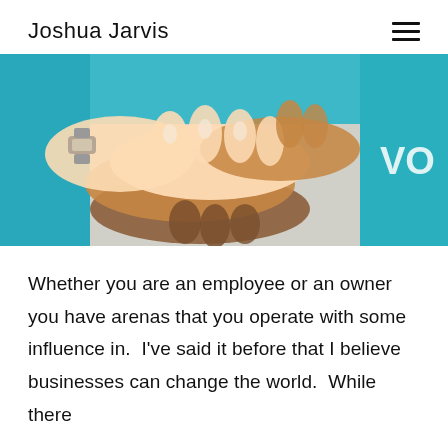Joshua Jarvis
[Figure (photo): Close-up photo of multiple diverse hands stacked together in a team gesture, people wearing teal/blue shirts, one person wearing a silver watch]
Whether you are an employee or an owner you have arenas that you operate with some influence in.  I've said it before that I believe businesses can change the world.  While there